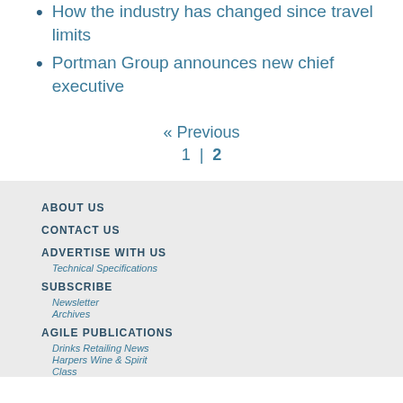How the industry has changed since travel limits
Portman Group announces new chief executive
« Previous
1  |  2
ABOUT US
CONTACT US
ADVERTISE WITH US
Technical Specifications
SUBSCRIBE
Newsletter
Archives
AGILE PUBLICATIONS
Drinks Retailing News
Harpers Wine & Spirit
Class